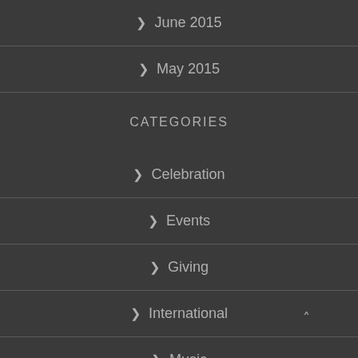> June 2015
> May 2015
CATEGORIES
> Celebration
> Events
> Giving
> International
> Music